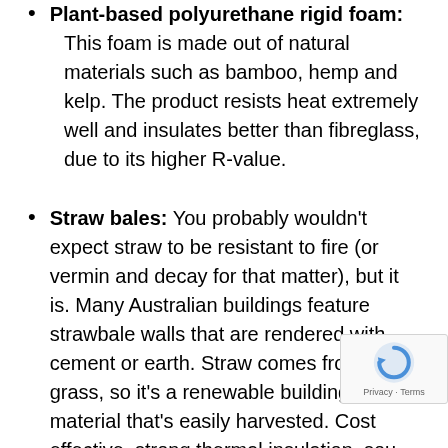Plant-based polyurethane rigid foam: This foam is made out of natural materials such as bamboo, hemp and kelp. The product resists heat extremely well and insulates better than fibreglass, due to its higher R-value.
Straw bales: You probably wouldn't expect straw to be resistant to fire (or vermin and decay for that matter), but it is. Many Australian buildings feature strawbale walls that are rendered with cement or earth. Straw comes from grass, so it's a renewable building material that's easily harvested. Cost effective, strong thermal insulation, sound insulation, moisture resistant and safe – straw bales tick all of the boxes.